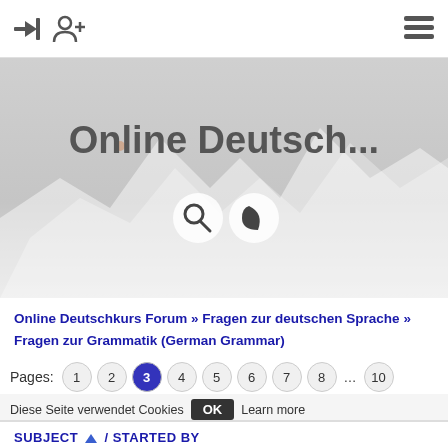Login | Register | Menu
[Figure (screenshot): Hero banner with mountain background and title 'Online Deutsch...' with search and dark-mode icons]
Online Deutschkurs Forum » Fragen zur deutschen Sprache » Fragen zur Grammatik (German Grammar)
Pages: 1 2 3 4 5 6 7 8 10
Diese Seite verwendet Cookies OK Learn more
| SUBJECT / STARTED BY |
| --- |